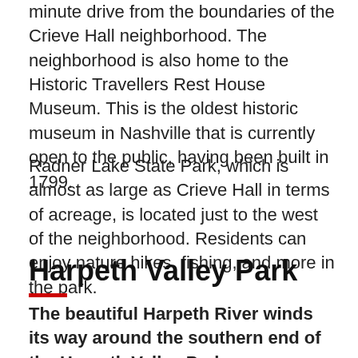minute drive from the boundaries of the Crieve Hall neighborhood. The neighborhood is also home to the Historic Travellers Rest House Museum. This is the oldest historic museum in Nashville that is currently open to the public, having been built in 1799.
Radner Lake State Park, which is almost as large as Crieve Hall in terms of acreage, is located just to the west of the neighborhood. Residents can enjoy nature hikes, fishing, and more in the park.
Harpeth Valley Park
The beautiful Harpeth River winds its way around the southern end of the Harpeth Valley Park neighborhood, located southwest of Nashville. This beautiful suburban neighborhood features many eyecatching ranch-style